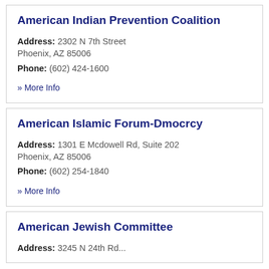American Indian Prevention Coalition
Address: 2302 N 7th Street
Phoenix, AZ 85006
Phone: (602) 424-1600
» More Info
American Islamic Forum-Dmocrcy
Address: 1301 E Mcdowell Rd, Suite 202
Phoenix, AZ 85006
Phone: (602) 254-1840
» More Info
American Jewish Committee
Address: 3245 N 24th Rd...